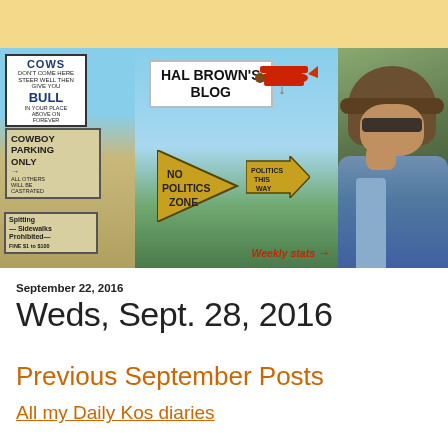[Figure (photo): Blog banner image collage: left side shows humorous signs (COWS/BULL, COWBOY PARKING ONLY, Spitting on Sidewalks Prohibited), center shows sky and green fields with HAL BROWN'S BLOG title box, a red biplane, a NO POLITICS ZONE triangular sign, a POLITICS THIS WAY arrow sign, and red italic 'Weekly stats' text; right side shows a person in a hat and sunglasses sitting in a car.]
September 22, 2016
Weds, Sept. 28, 2016
Previous September Posts
All my Daily Kos diaries